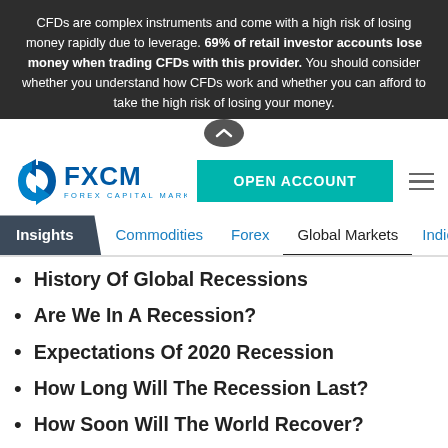CFDs are complex instruments and come with a high risk of losing money rapidly due to leverage. 69% of retail investor accounts lose money when trading CFDs with this provider. You should consider whether you understand how CFDs work and whether you can afford to take the high risk of losing your money.
[Figure (logo): FXCM Forex Capital Markets logo with swirl icon in blue]
OPEN ACCOUNT
Insights  Commodities  Forex  Global Markets  Indices
History Of Global Recessions
Are We In A Recession?
Expectations Of 2020 Recession
How Long Will The Recession Last?
How Soon Will The World Recover?